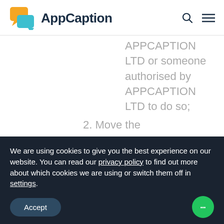AppCaption
APPCAPTION LTD or someone authorised by APPCAPTION LTD to do so;
2. Move the
We are using cookies to give you the best experience on our website. You can read our privacy policy to find out more about which cookies we are using or switch them off in settings.